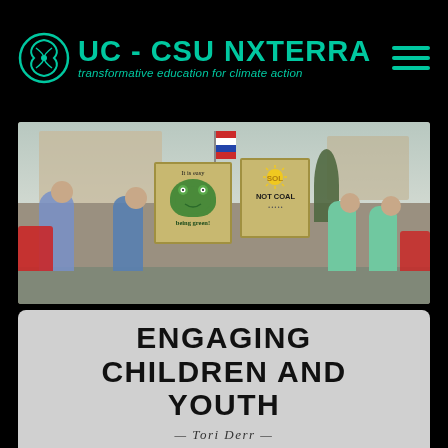UC - CSU NXTerra | transformative education for climate action
[Figure (photo): Group of people at a climate march/rally holding signs including one that reads 'It is easy being green!' with a Kermit the Frog illustration, and another that reads 'SOL NOT COAL' with a sun drawing. Participants wear teal/green t-shirts, with an American flag visible in the background.]
ENGAGING CHILDREN AND YOUTH
— Tori Derr —